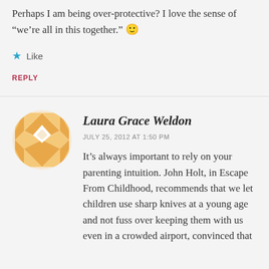Perhaps I am being over-protective? I love the sense of “we’re all in this together.” 🙂
★ Like
REPLY
[Figure (illustration): Circular avatar with geometric diamond/quilt pattern in orange and white tones]
Laura Grace Weldon
JULY 25, 2012 AT 1:50 PM
It’s always important to rely on your parenting intuition. John Holt, in Escape From Childhood, recommends that we let children use sharp knives at a young age and not fuss over keeping them with us even in a crowded airport, convinced that